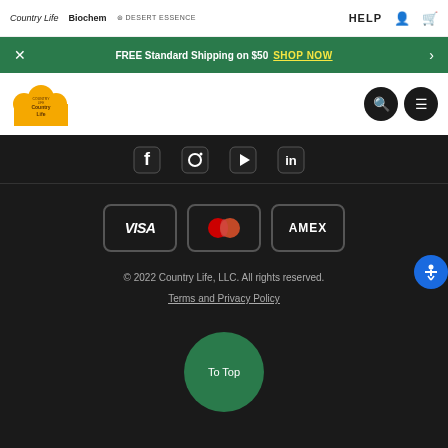Country Life | Biochem | Desert Essence | HELP
FREE Standard Shipping on $50 SHOP NOW
[Figure (logo): Country Life vitamins logo - yellow cloud shape with Country Life text]
[Figure (screenshot): Social media icons row (Facebook, Instagram, YouTube, LinkedIn) partially visible]
[Figure (screenshot): Payment method icons: VISA, Mastercard, AMEX]
© 2022 Country Life, LLC. All rights reserved.
Terms and Privacy Policy
To Top